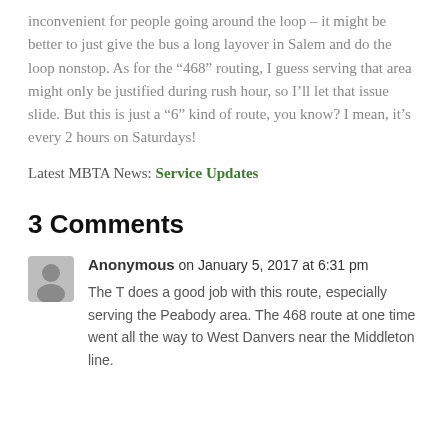inconvenient for people going around the loop – it might be better to just give the bus a long layover in Salem and do the loop nonstop. As for the “468” routing, I guess serving that area might only be justified during rush hour, so I’ll let that issue slide. But this is just a “6” kind of route, you know? I mean, it’s every 2 hours on Saturdays!
Latest MBTA News: Service Updates
3 Comments
Anonymous on January 5, 2017 at 6:31 pm
The T does a good job with this route, especially serving the Peabody area. The 468 route at one time went all the way to West Danvers near the Middleton line.